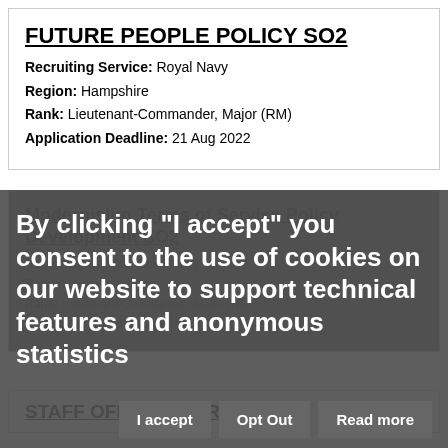FUTURE PEOPLE POLICY SO2
Recruiting Service: Royal Navy
Region: Hampshire
Rank: Lieutenant-Commander, Major (RM)
Application Deadline: 21 Aug 2022
By clicking "I accept" you consent to the use of cookies on our website to support technical features and anonymous statistics
Modernising Terms of Service Policy Development SO2
Recruiting Service: Royal Navy
Region: Greater London
Rank: Lieutenant-Commander, Major (RM)
STAFF OFFICER PORTFOLIO